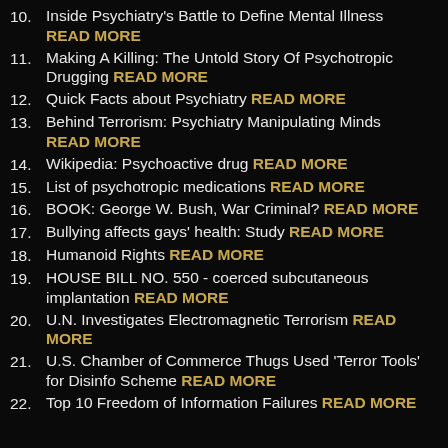10. Inside Psychiatry's Battle to Define Mental Illness READ MORE
11. Making A Killing: The Untold Story Of Psychotropic Drugging READ MORE
12. Quick Facts about Psychiatry READ MORE
13. Behind Terrorism: Psychiatry Manipulating Minds READ MORE
14. Wikipedia: Psychoactive drug READ MORE
15. List of psychotropic medications READ MORE
16. BOOK: George W. Bush, War Criminal? READ MORE
17. Bullying affects gays' health: Study READ MORE
18. Humanoid Rights READ MORE
19. HOUSE BILL NO. 550 - coerced subcutaneous implantation READ MORE
20. U.N. Investigates Electromagnetic Terrorism READ MORE
21. U.S. Chamber of Commerce Thugs Used 'Terror Tools' for Disinfo Scheme READ MORE
22. Top 10 Freedom of Information Failures READ MORE